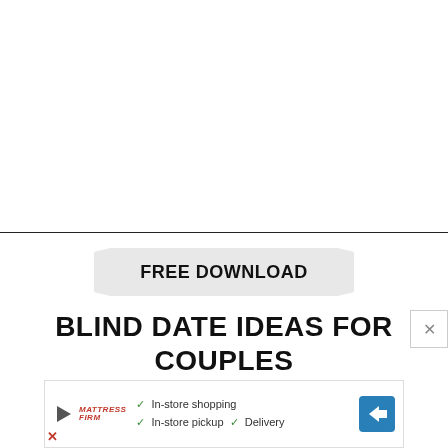[Figure (other): White blank upper area of the page]
[Figure (infographic): Banner graphic with light grey ribbon/chevron shape containing text FREE DOWNLOAD]
BLIND DATE IDEAS FOR COUPLES
[Figure (infographic): Advertisement banner for Mattress Firm showing checkmarks next to: In-store shopping, In-store pickup, Delivery, along with a blue navigation arrow icon and play/X icons]